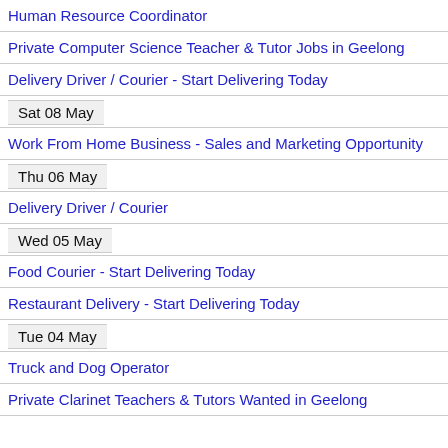Human Resource Coordinator
Private Computer Science Teacher & Tutor Jobs in Geelong
Delivery Driver / Courier - Start Delivering Today
Sat 08 May
Work From Home Business - Sales and Marketing Opportunity
Thu 06 May
Delivery Driver / Courier
Wed 05 May
Food Courier - Start Delivering Today
Restaurant Delivery - Start Delivering Today
Tue 04 May
Truck and Dog Operator
Private Clarinet Teachers & Tutors Wanted in Geelong